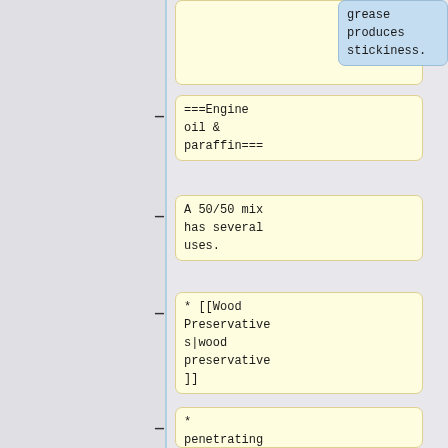grease produces stickiness.
===Engine oil & paraffin===
A 50/50 mix has several uses.
* [[Wood Preservatives|wood preservative]]
* penetrating oil
* corrosion